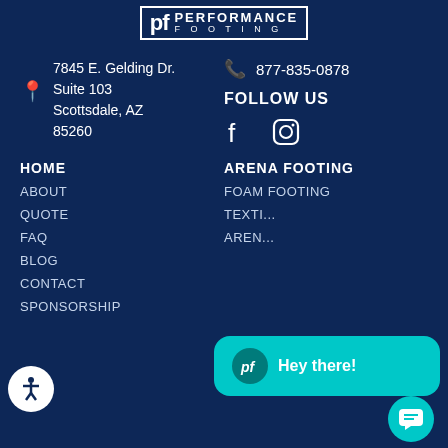[Figure (logo): Performance Footing logo with 'pf' initials in a box, PERFORMANCE in bold caps and FOOTING in spaced letters]
7845 E. Gelding Dr.
Suite 103
Scottsdale, AZ 85260
877-835-0878
FOLLOW US
[Figure (infographic): Facebook and Instagram social media icons in white]
HOME
ARENA FOOTING
ABOUT
FOAM FOOTING
QUOTE
TEXTI...
FAQ
AREN...
BLOG
CONTACT
SPONSORSHIP
[Figure (screenshot): Chat widget popup with teal background showing pf logo and 'Hey there!' text, plus circular chat button]